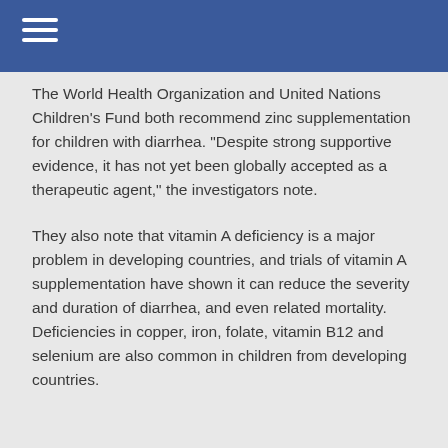The World Health Organization and United Nations Children's Fund both recommend zinc supplementation for children with diarrhea. "Despite strong supportive evidence, it has not yet been globally accepted as a therapeutic agent," the investigators note.
They also note that vitamin A deficiency is a major problem in developing countries, and trials of vitamin A supplementation have shown it can reduce the severity and duration of diarrhea, and even related mortality. Deficiencies in copper, iron, folate, vitamin B12 and selenium are also common in children from developing countries.